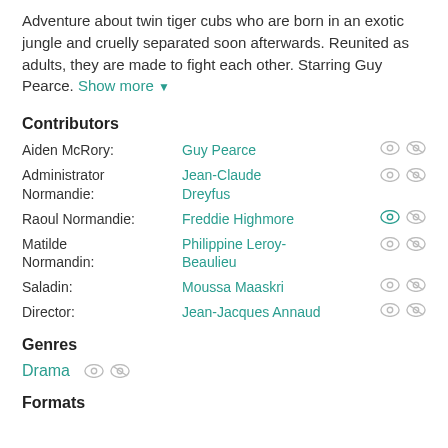Adventure about twin tiger cubs who are born in an exotic jungle and cruelly separated soon afterwards. Reunited as adults, they are made to fight each other. Starring Guy Pearce. Show more ▼
Contributors
Aiden McRory: Guy Pearce
Administrator Normandie: Jean-Claude Dreyfus
Raoul Normandie: Freddie Highmore
Matilde Normandin: Philippine Leroy-Beaulieu
Saladin: Moussa Maaskri
Director: Jean-Jacques Annaud
Genres
Drama
Formats